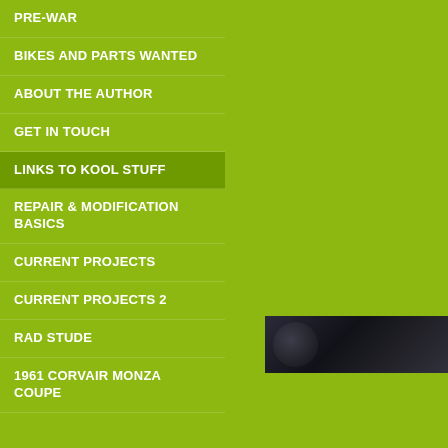PRE-WAR
BIKES AND PARTS WANTED
ABOUT THE AUTHOR
GET IN TOUCH
LINKS TO KOOL STUFF
REPAIR & MODIFICATION BASICS
CURRENT PROJECTS
CURRENT PROJECTS 2
RAD STUDE
1961 CORVAIR MONZA COUPE
O
[Figure (photo): Dark photograph strip showing what appears to be mechanical/automotive detail, partially cropped, dark tones]